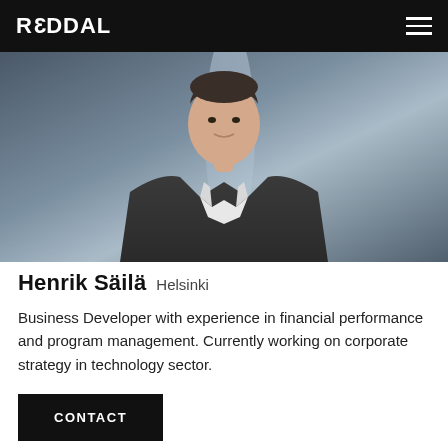REDDAL
[Figure (photo): Professional headshot of Henrik Säilä, a young man in a dark suit and white striped shirt, photographed against a blue-grey gradient background]
Henrik Säilä Helsinki
Business Developer with experience in financial performance and program management. Currently working on corporate strategy in technology sector.
CONTACT